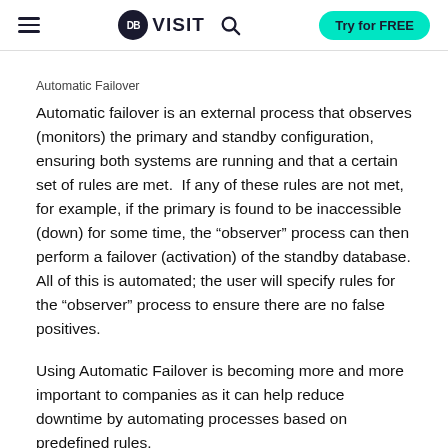DBVISIT — Try for FREE
Automatic Failover
Automatic failover is an external process that observes (monitors) the primary and standby configuration, ensuring both systems are running and that a certain set of rules are met.  If any of these rules are not met, for example, if the primary is found to be inaccessible (down) for some time, the “observer” process can then perform a failover (activation) of the standby database. All of this is automated; the user will specify rules for the “observer” process to ensure there are no false positives.
Using Automatic Failover is becoming more and more important to companies as it can help reduce downtime by automating processes based on predefined rules.